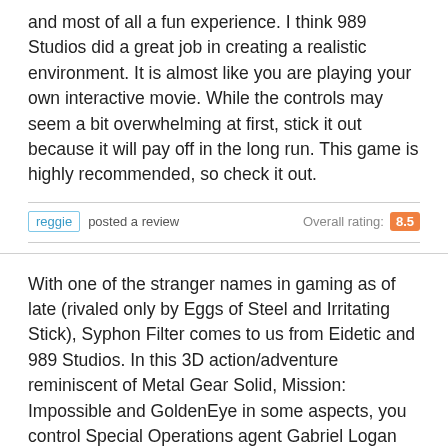and most of all a fun experience. I think 989 Studios did a great job in creating a realistic environment. It is almost like you are playing your own interactive movie. While the controls may seem a bit overwhelming at first, stick it out because it will pay off in the long run. This game is highly recommended, so check it out.
reggie posted a review  Overall rating: 8.5
With one of the stranger names in gaming as of late (rivaled only by Eggs of Steel and Irritating Stick), Syphon Filter comes to us from Eidetic and 989 Studios. In this 3D action/adventure reminiscent of Metal Gear Solid, Mission: Impossible and GoldenEye in some aspects, you control Special Operations agent Gabriel Logan as he tries to unravel the mystery behind a terrorist organization and a deadly biological weapon they possess which is capable of destroying mankind altogether. Obviously, this is a bad thing.
So, as Gabe, your job is to make your way through a